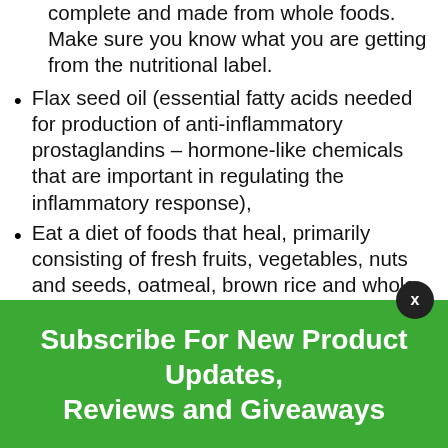complete and made from whole foods. Make sure you know what you are getting from the nutritional label.
Flax seed oil (essential fatty acids needed for production of anti-inflammatory prostaglandins – hormone-like chemicals that are important in regulating the inflammatory response),
Eat a diet of foods that heal, primarily consisting of fresh fruits, vegetables, nuts and seeds, oatmeal, brown rice and whole grains, include garlic and onions (these contain quercetin and mustard oils which have been shown to inhibit an enzyme that aids in chronic inflammation research),
Subscribe For New Product Updates, Reviews and Giveaways